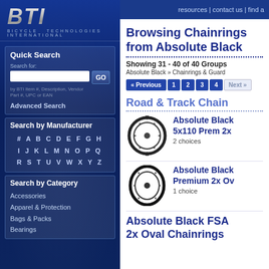[Figure (logo): BTI Bicycle Technologies International logo in silver metallic italic letters on dark blue background]
resources | contact us | find a
Browsing Chainrings from Absolute Black
Showing 31 - 40 of 40 Groups
Absolute Black » Chainrings & Guard
« Previous | 1 | 2 | 3 | 4 | Next »
Road & Track Chain
Absolute Black 5x110 Prem 2x
2 choices
Absolute Black Premium 2x Ov
1 choice
Absolute Black FSA 2x Oval Chainrings
Quick Search
Search for:
by BTI Item #, Description, Vendor Part #, UPC or EAN
Advanced Search
Search by Manufacturer
# A B C D E F G H
I J K L M N O P Q
R S T U V W X Y Z
Search by Category
Accessories
Apparel & Protection
Bags & Packs
Bearings